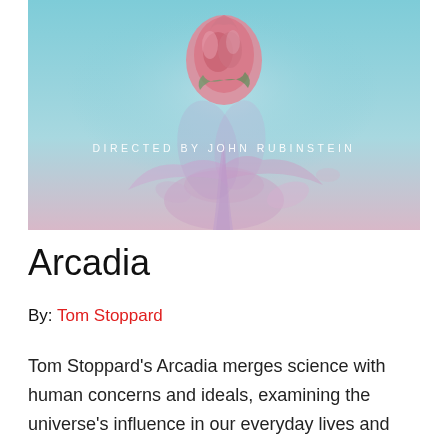[Figure (illustration): A rose with pink and lavender ink dispersing in water against a light blue/teal background. Overlaid white text reads 'DIRECTED BY JOHN RUBINSTEIN' in spaced capital letters.]
Arcadia
By: Tom Stoppard
Tom Stoppard's Arcadia merges science with human concerns and ideals, examining the universe's influence in our everyday lives and